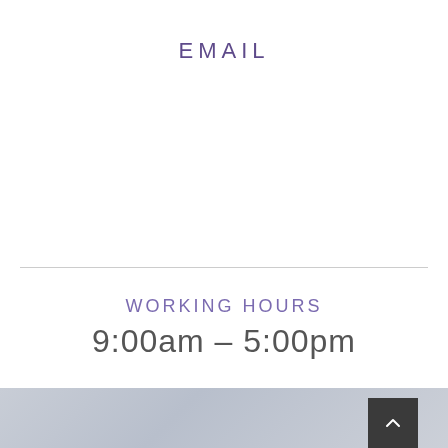EMAIL
WORKING HOURS
9:00am – 5:00pm
[Figure (other): Gray gradient footer background with a dark square back-to-top button containing an upward chevron arrow in the bottom right corner]